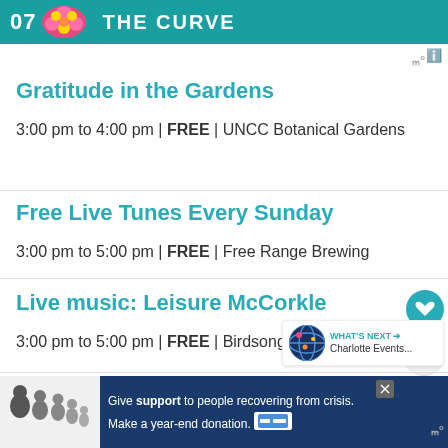[Figure (screenshot): Teal banner with '07' and 'THE CURVE' text and decorative flower graphic]
Gratitude in the Gardens
3:00 pm to 4:00 pm | FREE | UNCC Botanical Gardens
Free Live Tunes Every Sunday
3:00 pm to 5:00 pm | FREE | Free Range Brewing
Live music: Leisure McCorkle
3:00 pm to 5:00 pm | FREE | Birdsong Brewing Co.
Guided tour at Hugh Torance House and Store in Huntersville
[Figure (infographic): Advertisement: Give support to people recovering from crisis. Make a year-end donation.]